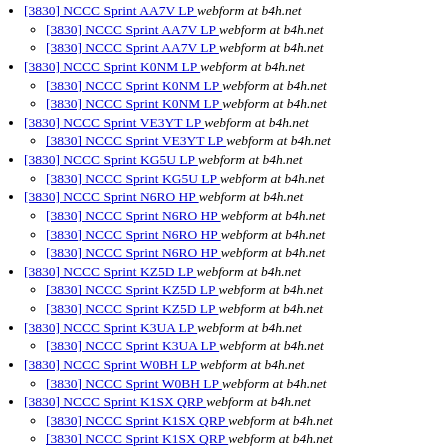[3830] NCCC Sprint AA7V LP  webform at b4h.net
[3830] NCCC Sprint AA7V LP  webform at b4h.net
[3830] NCCC Sprint AA7V LP  webform at b4h.net
[3830] NCCC Sprint K0NM LP  webform at b4h.net
[3830] NCCC Sprint K0NM LP  webform at b4h.net
[3830] NCCC Sprint K0NM LP  webform at b4h.net
[3830] NCCC Sprint VE3YT LP  webform at b4h.net
[3830] NCCC Sprint VE3YT LP  webform at b4h.net
[3830] NCCC Sprint KG5U LP  webform at b4h.net
[3830] NCCC Sprint KG5U LP  webform at b4h.net
[3830] NCCC Sprint N6RO HP  webform at b4h.net
[3830] NCCC Sprint N6RO HP  webform at b4h.net
[3830] NCCC Sprint N6RO HP  webform at b4h.net
[3830] NCCC Sprint N6RO HP  webform at b4h.net
[3830] NCCC Sprint KZ5D LP  webform at b4h.net
[3830] NCCC Sprint KZ5D LP  webform at b4h.net
[3830] NCCC Sprint KZ5D LP  webform at b4h.net
[3830] NCCC Sprint K3UA LP  webform at b4h.net
[3830] NCCC Sprint K3UA LP  webform at b4h.net
[3830] NCCC Sprint W0BH LP  webform at b4h.net
[3830] NCCC Sprint W0BH LP  webform at b4h.net
[3830] NCCC Sprint K1SX QRP  webform at b4h.net
[3830] NCCC Sprint K1SX QRP  webform at b4h.net
[3830] NCCC Sprint K1SX QRP  webform at b4h.net
[3830] NCCC Sprint K1SX QRP  webform at b4h.net
[3830] NCCC Sprint KW8N LP  webform at b4h.net